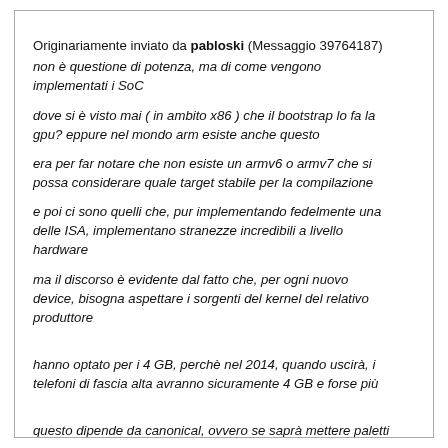Originariamente inviato da pabloski (Messaggio 39764187)
non è questione di potenza, ma di come vengono implementati i SoC
dove si è visto mai ( in ambito x86 ) che il bootstrap lo fa la gpu? eppure nel mondo arm esiste anche questo
era per far notare che non esiste un armv6 o armv7 che si possa considerare quale target stabile per la compilazione
e poi ci sono quelli che, pur implementando fedelmente una delle ISA, implementano stranezze incredibili a livello hardware
ma il discorso è evidente dal fatto che, per ogni nuovo device, bisogna aspettare i sorgenti del kernel del relativo produttore
hanno optato per i 4 GB, perchè nel 2014, quando uscirà, i telefoni di fascia alta avranno sicuramente 4 GB e forse più
questo dipende da canonical, ovvero se saprà mettere paletti